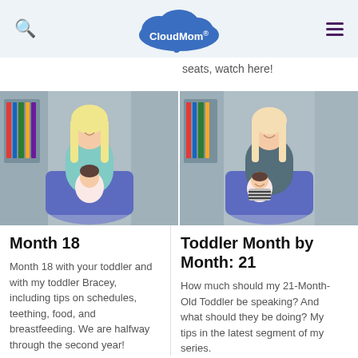CloudMom.
seats, watch here!
[Figure (photo): Woman with blonde hair holding a baby in a blue chair, indoor studio setting with bookshelves in background]
[Figure (photo): Woman with blonde hair and a toddler laughing in a blue chair, indoor studio setting with bookshelves in background]
Month 18
Month 18 with your toddler and with my toddler Bracey, including tips on schedules, teething, food, and breastfeeding. We are halfway through the second year!
Toddler Month by Month: 21
How much should my 21-Month-Old Toddler be speaking? And what should they be doing? My tips in the latest segment of my series.